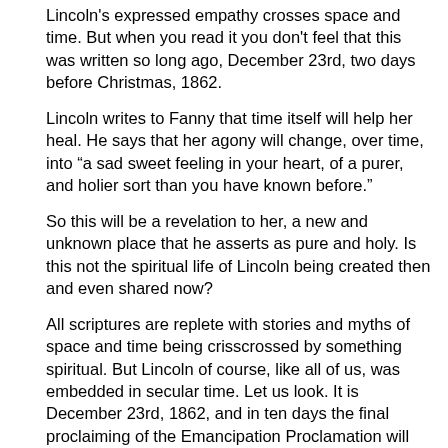Lincoln's expressed empathy crosses space and time. But when you read it you don't feel that this was written so long ago, December 23rd, two days before Christmas, 1862.
Lincoln writes to Fanny that time itself will help her heal. He says that her agony will change, over time, into “a sad sweet feeling in your heart, of a purer, and holier sort than you have known before.”
So this will be a revelation to her, a new and unknown place that he asserts as pure and holy. Is this not the spiritual life of Lincoln being created then and even shared now?
All scriptures are replete with stories and myths of space and time being crisscrossed by something spiritual. But Lincoln of course, like all of us, was embedded in secular time. Let us look. It is December 23rd, 1862, and in ten days the final proclaiming of the Emancipation Proclamation will take effect. Ten days before Lincoln wrote this letter the Union army suffered 12,000 casualties in an horrific defeat at Fredericksburg. How could Lincoln have on his mind and heart 12,000 men